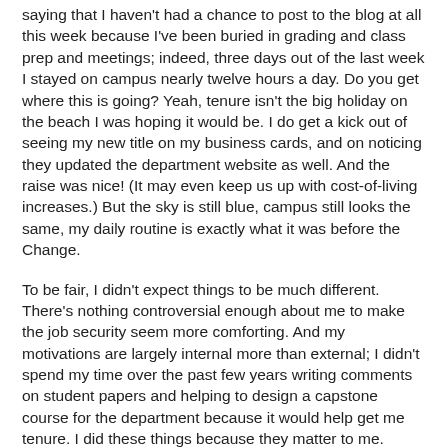saying that I haven't had a chance to post to the blog at all this week because I've been buried in grading and class prep and meetings; indeed, three days out of the last week I stayed on campus nearly twelve hours a day. Do you get where this is going? Yeah, tenure isn't the big holiday on the beach I was hoping it would be. I do get a kick out of seeing my new title on my business cards, and on noticing they updated the department website as well. And the raise was nice! (It may even keep us up with cost-of-living increases.) But the sky is still blue, campus still looks the same, my daily routine is exactly what it was before the Change.
To be fair, I didn't expect things to be much different. There's nothing controversial enough about me to make the job security seem more comforting. And my motivations are largely internal more than external; I didn't spend my time over the past few years writing comments on student papers and helping to design a capstone course for the department because it would help get me tenure. I did these things because they matter to me. They're an important part of how I perceive my role at a university, and they're rewarding in that I can see the effects in student performance and the